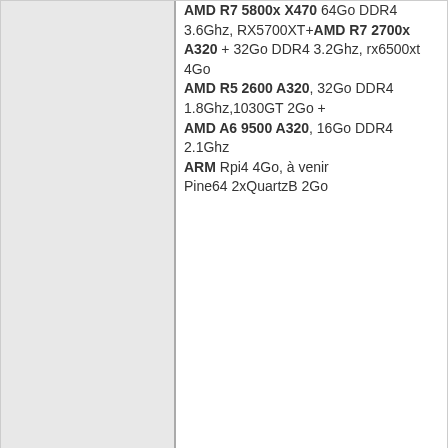AMD R7 5800x X470 64Go DDR4 3.6Ghz, RX5700XT+AMD R7 2700x A320 + 32Go DDR4 3.2Ghz, rx6500xt 4Go AMD R5 2600 A320, 32Go DDR4 1.8Ghz,1030GT 2Go + AMD A6 9500 A320, 16Go DDR4 2.1Ghz ARM Rpi4 4Go, à venir Pine64 2xQuartzB 2Go
Hors ligne
bioinfornatics  18/11/2009 02:16:36  #2
Membre
[Figure (photo): Avatar image of a penguin]
Lieu : Paris
Inscription : 08/03/2007
Messages : 3 721
il est fonctionnelle sous F12?
mon blog: http://blog.fedora-fr.org/bioinfornatics/
wikibooks: http://fr.wikibooks.org/wiki/Prog
[fourmi.gif]